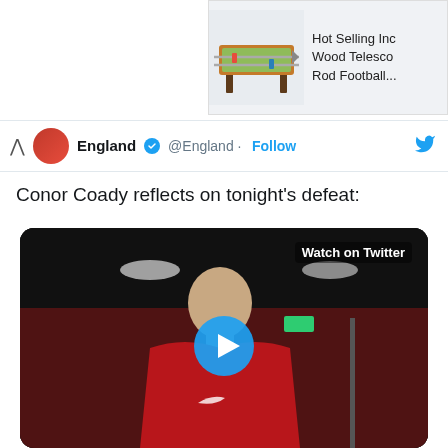[Figure (screenshot): Advertisement banner showing a foosball table product with text 'Hot Selling Inc Wood Telesco Rod Football...']
England @England · Follow
Conor Coady reflects on tonight's defeat:
[Figure (screenshot): Twitter video thumbnail showing Conor Coady in England red kit with 'Watch on Twitter' label and a blue play button overlay]